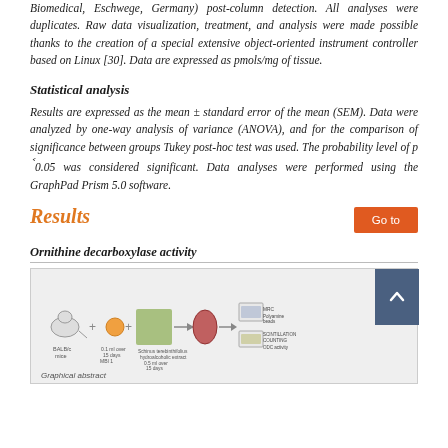Biomedical, Eschwege, Germany) post-column detection. All analyses were duplicates. Raw data visualization, treatment, and analysis were made possible thanks to the creation of a special extensive object-oriented instrument controller based on Linux [30]. Data are expressed as pmols/mg of tissue.
Statistical analysis
Results are expressed as the mean ± standard error of the mean (SEM). Data were analyzed by one-way analysis of variance (ANOVA), and for the comparison of significance between groups Tukey post-hoc test was used. The probability level of p <0.05 was considered significant. Data analyses were performed using the GraphPad Prism 5.0 software.
Results
Ornithine decarboxylase activity
[Figure (schematic): Graphical abstract showing experimental workflow: mouse, plus symbol, plant extract, arrow to kidney image, then to laboratory equipment (polyamine beads, scintillation counting, ODC activity). Labels include BALB/c mice, 0.1 ml over 15 days, Schinus terebinthifolius hydroalcoholic extract.]